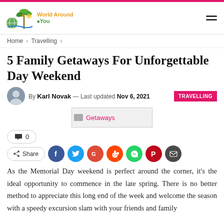World Around You — site header with logo and hamburger menu
Home > Travelling >
5 Family Getaways For Unforgettable Day Weekend
By Karl Novak — Last updated Nov 6, 2021   TRAVELLING
[Figure (other): Article thumbnail image labeled 'Getaways']
0
Share — social icons: Facebook, Twitter, Google+, Reddit, WhatsApp, Pinterest, Email
As the Memorial Day weekend is perfect around the corner, it's the ideal opportunity to commence in the late spring. There is no better method to appreciate this long end of the week and welcome the season with a speedy excursion slam with your friends and family